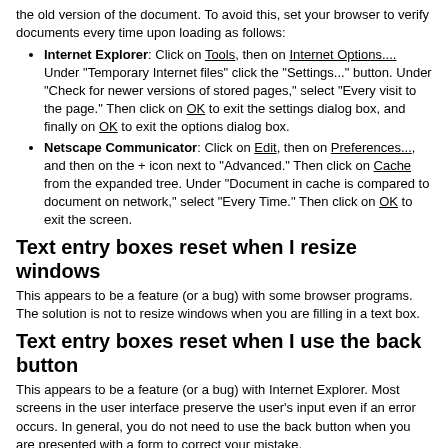the old version of the document. To avoid this, set your browser to verify documents every time upon loading as follows:
Internet Explorer: Click on Tools, then on Internet Options.... Under "Temporary Internet files" click the "Settings..." button. Under "Check for newer versions of stored pages," select "Every visit to the page." Then click on OK to exit the settings dialog box, and finally on OK to exit the options dialog box.
Netscape Communicator: Click on Edit, then on Preferences..., and then on the + icon next to "Advanced." Then click on Cache from the expanded tree. Under "Document in cache is compared to document on network," select "Every Time." Then click on OK to exit the screen.
Text entry boxes reset when I resize windows
This appears to be a feature (or a bug) with some browser programs. The solution is not to resize windows when you are filling in a text box.
Text entry boxes reset when I use the back button
This appears to be a feature (or a bug) with Internet Explorer. Most screens in the user interface preserve the user's input even if an error occurs. In general, you do not need to use the back button when you are presented with a form to correct your mistake.
Text entry boxes don't fit entirely on screen
Unfortunately, text entry boxes cannot be resized within the document to fit on your screen. One option is to drag to the left the border between